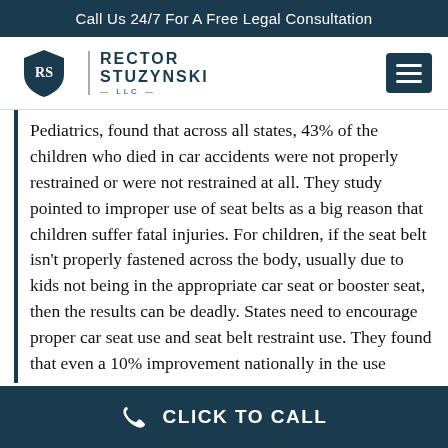Call Us 24/7 For A Free Legal Consultation
[Figure (logo): Rector Stuzynski LLC law firm logo with shield icon and firm name]
Pediatrics, found that across all states, 43% of the children who died in car accidents were not properly restrained or were not restrained at all. They study pointed to improper use of seat belts as a big reason that children suffer fatal injuries. For children, if the seat belt isn't properly fastened across the body, usually due to kids not being in the appropriate car seat or booster seat, then the results can be deadly. States need to encourage proper car seat use and seat belt restraint use. They found that even a 10% improvement nationally in the use
CLICK TO CALL